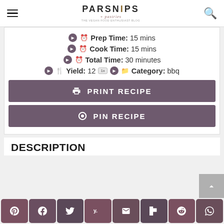PARSNIPS + pastries
Prep Time: 15 mins
Cook Time: 15 mins
Total Time: 30 minutes
Yield: 12  1x  Category: bbq
PRINT RECIPE
PIN RECIPE
DESCRIPTION